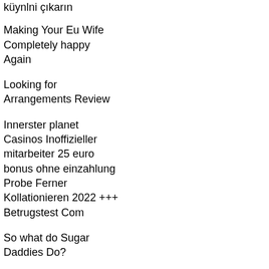küynlni çıkarın
Making Your Eu Wife Completely happy Again
Looking for Arrangements Review
Innerster planet Casinos Inoffizieller mitarbeiter 25 euro bonus ohne einzahlung Probe Ferner Kollationieren 2022 +++ Betrugstest Com
So what do Sugar Daddies Do?
Information on Internet dating Slavic Brides to